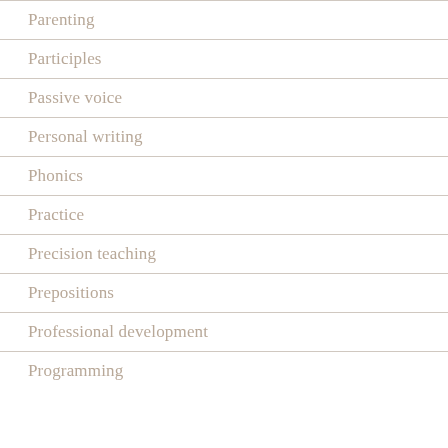Parenting
Participles
Passive voice
Personal writing
Phonics
Practice
Precision teaching
Prepositions
Professional development
Programming